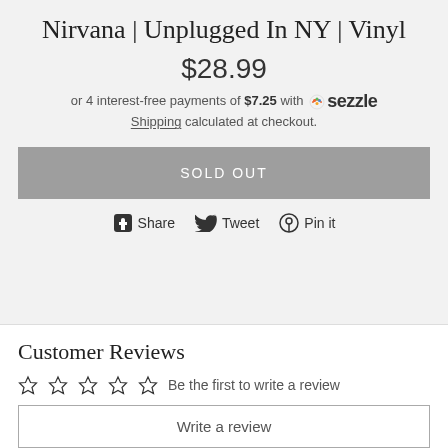Nirvana | Unplugged In NY | Vinyl
$28.99
or 4 interest-free payments of $7.25 with Sezzle
Shipping calculated at checkout.
SOLD OUT
Share  Tweet  Pin it
Customer Reviews
Be the first to write a review
Write a review